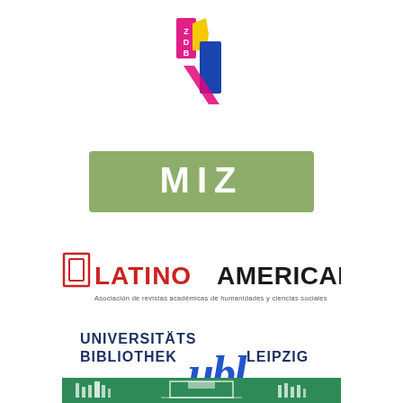[Figure (logo): ZDB logo - colorful stylized letters Z, D, B in magenta, yellow and blue]
[Figure (logo): MIZ logo - white bold letters on olive/sage green rectangular background]
[Figure (logo): Latinoamericana logo - red and black text with small red square icon, subtitle text below]
[Figure (logo): Universitätsbibliothek Leipzig (UBL) logo - dark blue bold text with large blue italic ubl script]
[Figure (logo): Green banner at bottom with white building/institution icon]